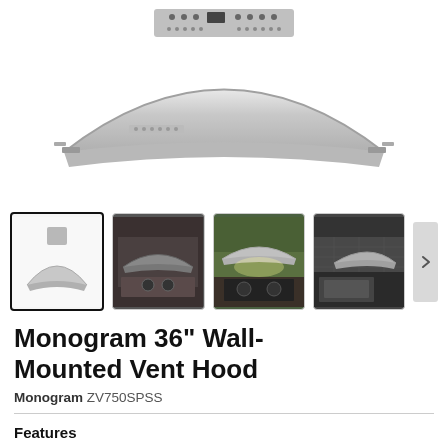[Figure (photo): Large product image of Monogram 36-inch wall-mounted vent hood in stainless steel, viewed from below/front against white background]
[Figure (photo): Thumbnail 1 (selected): Monogram vent hood product shot on white background]
[Figure (photo): Thumbnail 2: Vent hood installed in a kitchen, dark tones]
[Figure (photo): Thumbnail 3: Vent hood installed over cooktop with green backsplash, illuminated]
[Figure (photo): Thumbnail 4: Vent hood installed in outdoor or dark kitchen setting]
Monogram 36" Wall-Mounted Vent Hood
Monogram ZV750SPSS
Features